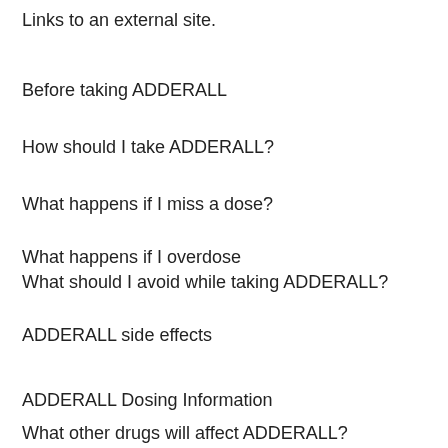Links to an external site.
Before taking ADDERALL
How should I take ADDERALL?
What happens if I miss a dose?
What happens if I overdose
What should I avoid while taking ADDERALL?
ADDERALL side effects
ADDERALL Dosing Information
What other drugs will affect ADDERALL?